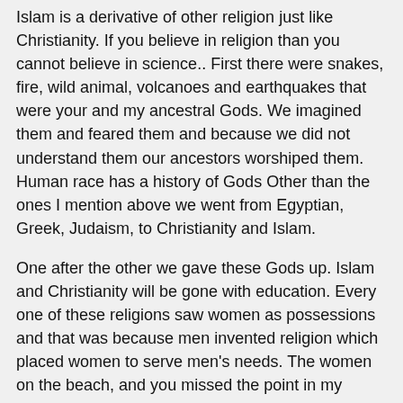Islam is a derivative of other religion just like Christianity. If you believe in religion than you cannot believe in science.. First there were snakes, fire, wild animal, volcanoes and earthquakes that were your and my ancestral Gods. We imagined them and feared them and because we did not understand them our ancestors worshiped them. Human race has a history of Gods Other than the ones I mention above we went from Egyptian, Greek, Judaism, to Christianity and Islam.
One after the other we gave these Gods up. Islam and Christianity will be gone with education. Every one of these religions saw women as possessions and that was because men invented religion which placed women to serve men's needs. The women on the beach, and you missed the point in my question, live in a society where they continue to be abused, sexualized and exploited by men. The woman in the slingshot probably equally if not more exploited than the one in the hijab.
Women in the Christian West were not allowed to be lawyers, doctors and other p[professionals and many were not allowed to vote until some 50 years ago. Christian women 100 or so years ago dressed like nuns do today. Women in many Arab countries